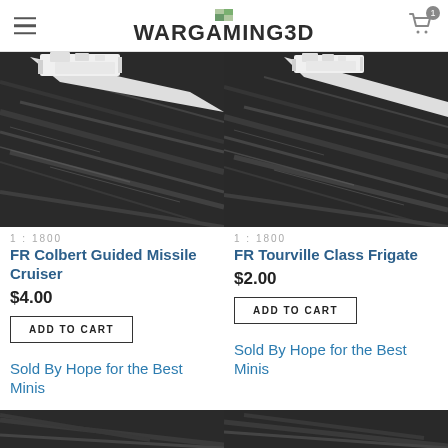WARGAMING3D
[Figure (photo): Photo of a 3D printed warship model (FR Colbert Guided Missile Cruiser) on dark water surface, diagonal view]
1 : 1800
FR Colbert Guided Missile Cruiser
$4.00
ADD TO CART
Sold By Hope for the Best Minis
[Figure (photo): Photo of a 3D printed warship model (FR Tourville Class Frigate) on dark water surface, diagonal view]
1 : 1800
FR Tourville Class Frigate
$2.00
ADD TO CART
Sold By Hope for the Best Minis